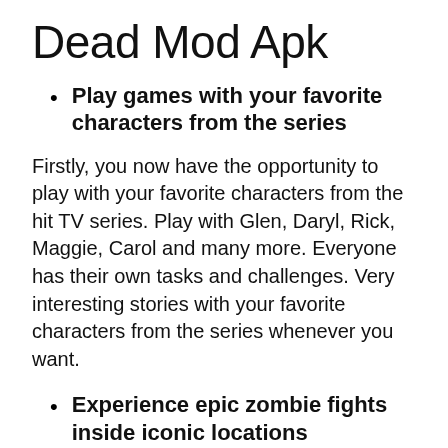Dead Mod Apk
Play games with your favorite characters from the series
Firstly, you now have the opportunity to play with your favorite characters from the hit TV series. Play with Glen, Daryl, Rick, Maggie, Carol and many more. Everyone has their own tasks and challenges. Very interesting stories with your favorite characters from the series whenever you want.
Experience epic zombie fights inside iconic locations
Apart from that, fans of the world-famous series will also surely enjoy the game's very